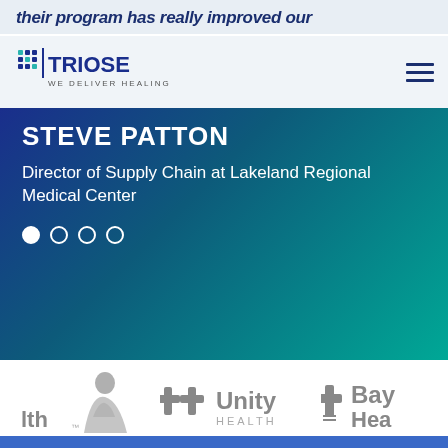their program has really improved our
[Figure (logo): TRIOSE logo with dot grid and tagline WE DELIVER HEALING]
STEVE PATTON
Director of Supply Chain at Lakeland Regional Medical Center
[Figure (other): Carousel navigation dots, first dot active]
[Figure (logo): Partial health system logo (lth)]
[Figure (logo): Unity Health logo with cross icon]
[Figure (logo): Bay Health logo with cross icon (partially visible)]